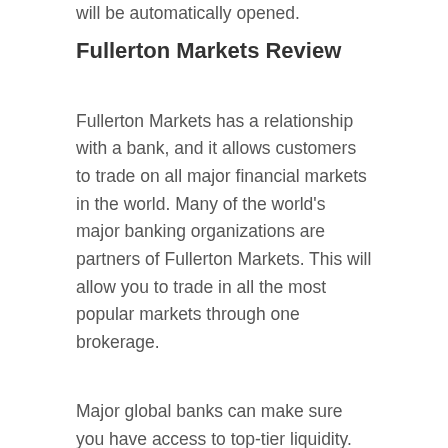will be automatically opened.
Fullerton Markets Review
Fullerton Markets has a relationship with a bank, and it allows customers to trade on all major financial markets in the world. Many of the world’s major banking organizations are partners of Fullerton Markets. This will allow you to trade in all the most popular markets through one brokerage.
Major global banks can make sure you have access to top-tier liquidity. The company provides its customers with access to foreign stock exchanges, where success-driven individuals can trade the global economy. Their customers are